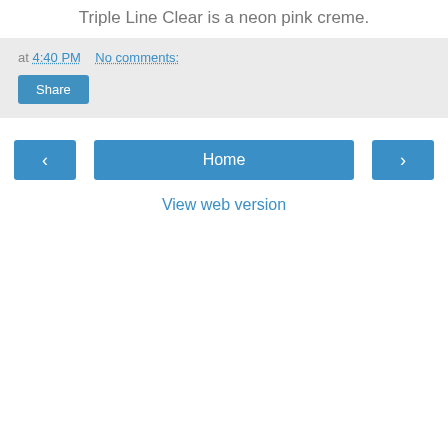Triple Line Clear is a neon pink creme.
at 4:40 PM    No comments:
Share
‹
Home
›
View web version